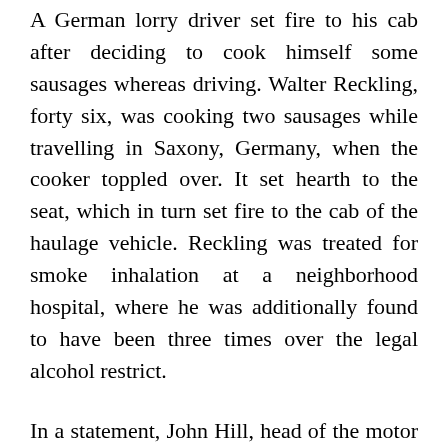A German lorry driver set fire to his cab after deciding to cook himself some sausages whereas driving. Walter Reckling, forty six, was cooking two sausages while travelling in Saxony, Germany, when the cooker toppled over. It set hearth to the seat, which in turn set fire to the cab of the haulage vehicle. Reckling was treated for smoke inhalation at a neighborhood hospital, where he was additionally found to have been three times over the legal alcohol restrict.
In a statement, John Hill, head of the motor carrier safety administration, stated, “These actions will support and strengthen our persevering with commitment to ensure that solely medically certified individuals are